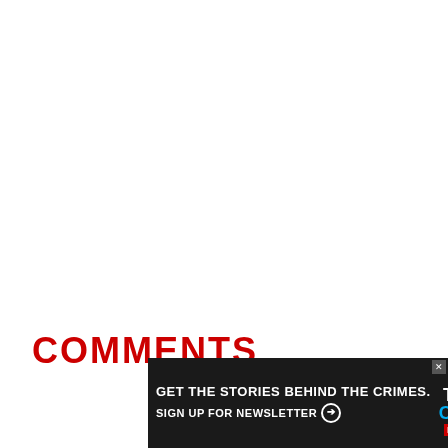COMMENTS
[Figure (other): Advertisement banner for True Crime Daily newsletter. Dark background with text 'GET THE STORIES BEHIND THE CRIMES.' and 'SIGN UP FOR NEWSLETTER' with True Crime Daily logo on the right side.]